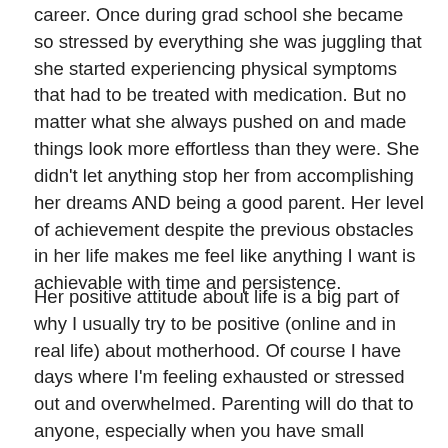career. Once during grad school she became so stressed by everything she was juggling that she started experiencing physical symptoms that had to be treated with medication. But no matter what she always pushed on and made things look more effortless than they were. She didn't let anything stop her from accomplishing her dreams AND being a good parent. Her level of achievement despite the previous obstacles in her life makes me feel like anything I want is achievable with time and persistence.
Her positive attitude about life is a big part of why I usually try to be positive (online and in real life) about motherhood. Of course I have days where I'm feeling exhausted or stressed out and overwhelmed. Parenting will do that to anyone, especially when you have small children back to back. Just adulting in general can be overwhelming some days. And being real about that can be cathartic. BUT I've learned from my mom that you choose how you react to your stress. Wallowing in negativity doesn't change anything. You still have to put on your big girl